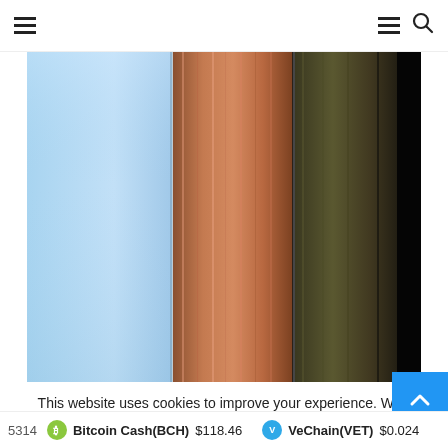Navigation header with hamburger menu and search icon
[Figure (photo): Abstract vertical color bars — light blue gradient on left, copper/brown tones in center, dark olive and near-black tones on right, suggesting motion blur or color swatch strips]
This website uses cookies to improve your experience. We'll assume you're ok with this, but you can opt-out if you w
5314  Bitcoin Cash(BCH)  $118.46  VeChain(VET)  $0.024